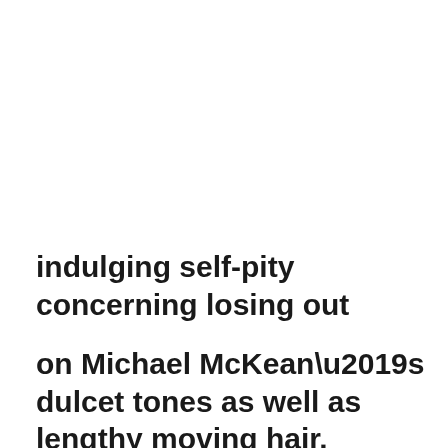indulging self-pity concerning losing out
on Michael McKean’s dulcet tones as well as lengthy moving hair. Rather, I simply